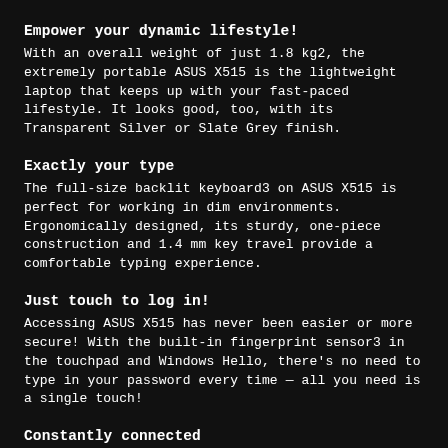Empower your dynamic lifestyle!
With an overall weight of just 1.8 kg2, the extremely portable ASUS X515 is the lightweight laptop that keeps up with your fast-paced lifestyle. It looks good, too, with its Transparent Silver or Slate Grey finish.
Exactly your type
The full-size backlit keyboard3 on ASUS X515 is perfect for working in dim environments. Ergonomically designed, its sturdy, one-piece construction and 1.4 mm key travel provide a comfortable typing experience.
Just touch to log in!
Accessing ASUS X515 has never been easier or more secure! With the built-in fingerprint sensor3 in the touchpad and Windows Hello, there's no need to type in your password every time — all you need is a single touch!
Constantly connected